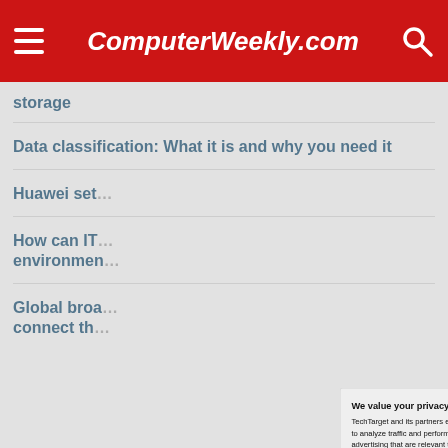ComputerWeekly.com
storage
Data classification: What it is and why you need it
Huawei set…
How can IT… environment…
Global broa… connect th…
We value your privacy. TechTarget and its partners employ cookies to improve your experience on our site, to analyze traffic and performance, and to serve personalized content and advertising that are relevant to your professional interests. You can manage your settings at any time. Please view our Privacy Policy for more information